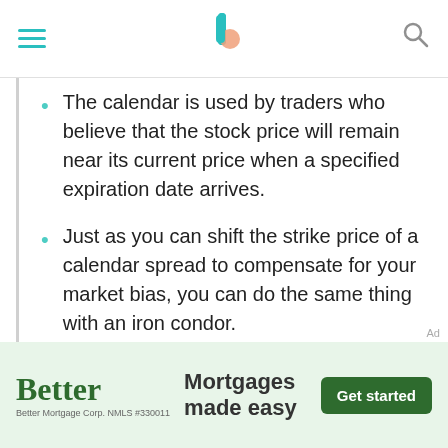Better (logo navigation bar with hamburger menu and search icon)
The calendar is used by traders who believe that the stock price will remain near its current price when a specified expiration date arrives.
Just as you can shift the strike price of a calendar spread to compensate for your market bias, you can do the same thing with an iron condor.
Instead of buying an at-the-money butterfly, buy one whose middle strike price is above the market when bullish, or below the market when bearish.
[Figure (advertisement): Better Mortgage advertisement banner: 'Better — Mortgages made easy', with Get started button. Better Mortgage Corp. NMLS #330011]